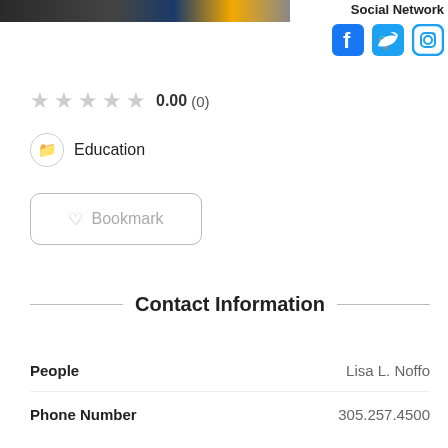[Figure (photo): Partial top image bar, dark/colorful, cropped at top of page]
Social Network
[Figure (illustration): Social media icons: Facebook (blue), Twitter (blue), Instagram (outline)]
0.00 (0)
Education
Bookmark
Contact Information
| Field | Value |
| --- | --- |
| People | Lisa L. Noffo |
| Phone Number | 305.257.4500 |